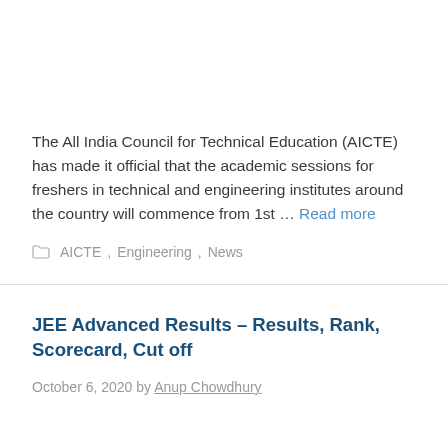The All India Council for Technical Education (AICTE) has made it official that the academic sessions for freshers in technical and engineering institutes around the country will commence from 1st ... Read more
AICTE, Engineering, News
JEE Advanced Results – Results, Rank, Scorecard, Cut off
October 6, 2020 by Anup Chowdhury